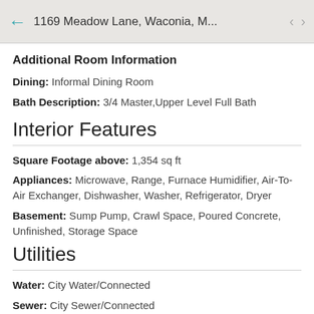1169 Meadow Lane, Waconia, M...
Additional Room Information
Dining: Informal Dining Room
Bath Description: 3/4 Master,Upper Level Full Bath
Interior Features
Square Footage above: 1,354 sq ft
Appliances: Microwave, Range, Furnace Humidifier, Air-To-Air Exchanger, Dishwasher, Washer, Refrigerator, Dryer
Basement: Sump Pump, Crawl Space, Poured Concrete, Unfinished, Storage Space
Utilities
Water: City Water/Connected
Sewer: City Sewer/Connected